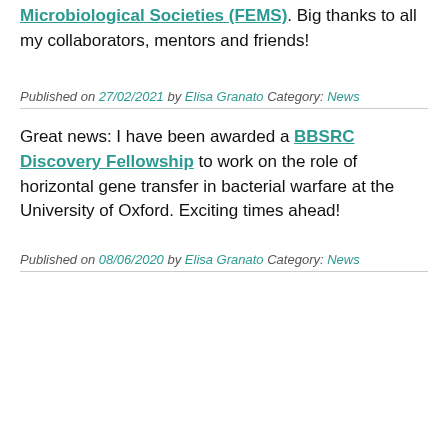Microbiological Societies (FEMS). Big thanks to all my collaborators, mentors and friends!
Published on 27/02/2021 by Elisa Granato Category: News
Great news: I have been awarded a BBSRC Discovery Fellowship to work on the role of horizontal gene transfer in bacterial warfare at the University of Oxford. Exciting times ahead!
Published on 08/06/2020 by Elisa Granato Category: News